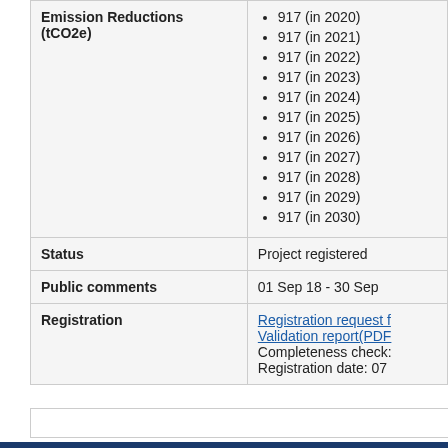| Field | Value |
| --- | --- |
| Emission Reductions (tCO2e) | 917 (in 2020)
917 (in 2021)
917 (in 2022)
917 (in 2023)
917 (in 2024)
917 (in 2025)
917 (in 2026)
917 (in 2027)
917 (in 2028)
917 (in 2029)
917 (in 2030) |
| Status | Project registered |
| Public comments | 01 Sep 18  -  30 Sep |
| Registration | Registration request f...
Validation report(PDF...
Completeness check:...
Registration date: 07... |